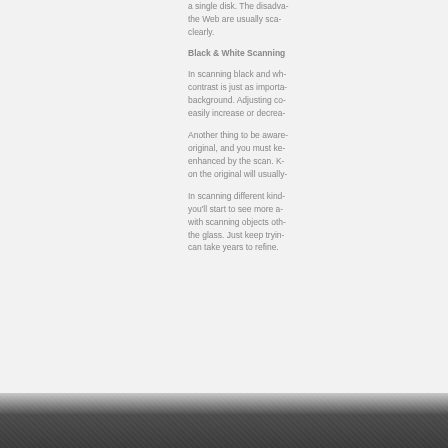a single disk. The disadva... the Web are usually sca... clearly.
Black & White Scanning
In scanning black and wh... contrast is just as importa... background. Adjusting co... easily increase or decrea...
Another thing to be aware... original, and you must ke... enhanced by the scan. K... on the original will usually...
In scanning different kind... you'll start to see more a... with scanning objects oth... the glass. Just keep tryin... can take years to refine.